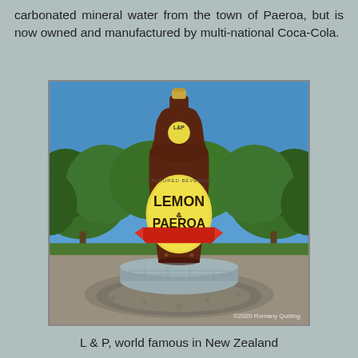carbonated mineral water from the town of Paeroa, but is now owned and manufactured by multi-national Coca-Cola.
[Figure (photo): A giant L&P (Lemon & Paeroa) bottle statue standing on a stone plinth in a paved roundabout, with trees and blue sky in the background. The bottle is dark brown with a yellow label reading 'LEMON PAEROA'. Watermark reads '©2020 Romany Quilting'.]
L & P, world famous in New Zealand